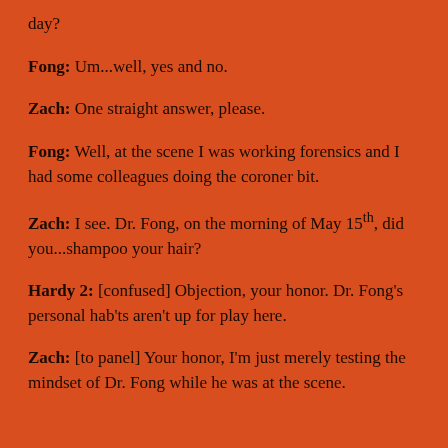day?
Fong: Um...well, yes and no.
Zach: One straight answer, please.
Fong: Well, at the scene I was working forensics and I had some colleagues doing the coroner bit.
Zach: I see. Dr. Fong, on the morning of May 15th, did you...shampoo your hair?
Hardy 2: [confused] Objection, your honor. Dr. Fong's personal hab'ts aren't up for play here.
Zach: [to panel] Your honor, I'm just merely testing the mindset of Dr. Fong while he was at the scene.